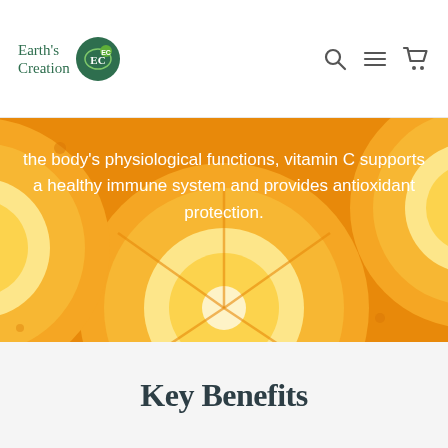Earth's Creation [logo]
[Figure (photo): Close-up of orange slices cut in half, showing bright orange flesh and white pith, used as background hero image]
the body's physiological functions, vitamin C supports a healthy immune system and provides antioxidant protection.
Key Benefits